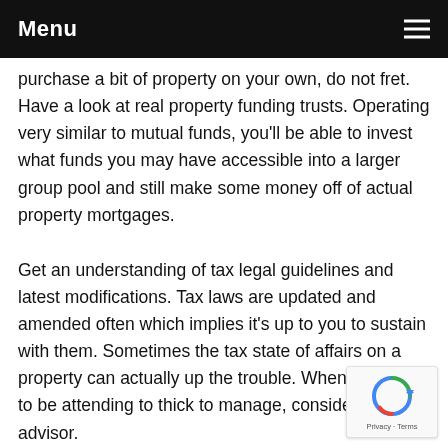Menu
purchase a bit of property on your own, do not fret. Have a look at real property funding trusts. Operating very similar to mutual funds, you'll be able to invest what funds you may have accessible into a larger group pool and still make some money off of actual property mortgages.
Get an understanding of tax legal guidelines and latest modifications. Tax laws are updated and amended often which implies it's up to you to sustain with them. Sometimes the tax state of affairs on a property can actually up the trouble. When it seems to be attending to thick to manage, consider a tax advisor.